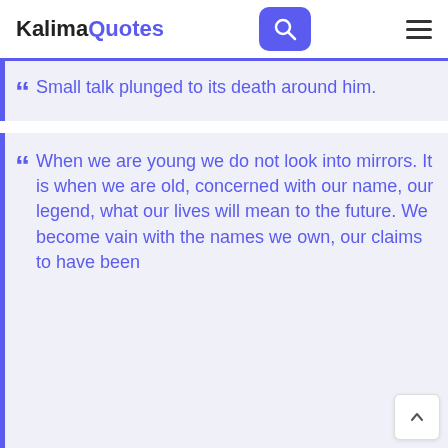KalimaQuotes
Small talk plunged to its death around him.
When we are young we do not look into mirrors. It is when we are old, concerned with our name, our legend, what our lives will mean to the future. We become vain with the names we own, our claims to have been